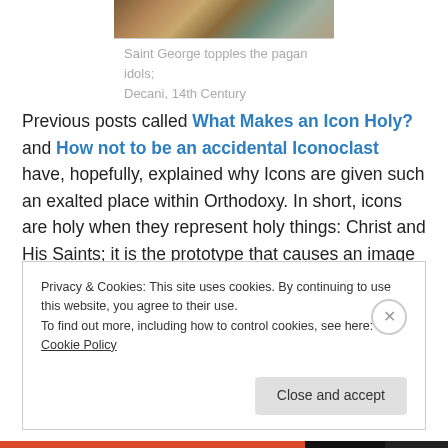[Figure (illustration): Partial view of an icon painting showing Saint George toppling pagan idols, Decani, 14th Century. Only the bottom portion of the image is visible.]
Saint George topples the pagan idols;
Decani, 14th Century
Previous posts called What Makes an Icon Holy? and How not to be an accidental Iconoclast have, hopefully, explained why Icons are given such an exalted place within Orthodoxy. In short, icons are holy when they represent holy things: Christ and His Saints; it is the prototype that causes an image to be holy.
Privacy & Cookies: This site uses cookies. By continuing to use this website, you agree to their use.
To find out more, including how to control cookies, see here: Cookie Policy